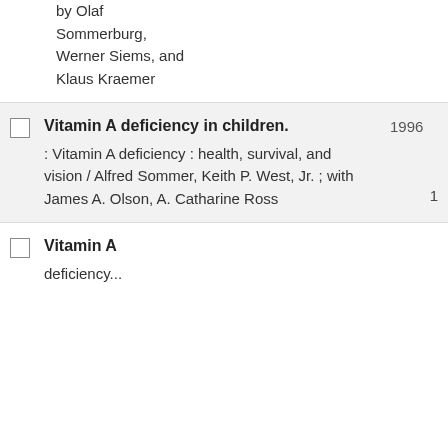by Olaf Sommerburg, Werner Siems, and Klaus Kraemer
|  | Title | Year | Count |
| --- | --- | --- | --- |
| ☐ | Vitamin A deficiency in children. : Vitamin A deficiency : health, survival, and vision / Alfred Sommer, Keith P. West, Jr. ; with James A. Olson, A. Catharine Ross | 1996 | 1 |
| ☐ | Vitamin A deficiency... |  |  |